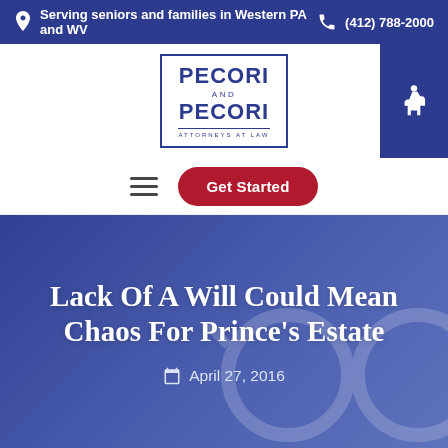Serving seniors and families in Western PA and WV  (412) 788-2000
[Figure (logo): Pecori and Pecori Attorneys at Law logo — dark blue bordered box with text]
[Figure (other): Accessibility icon button (wheelchair symbol) on dark blue background]
[Figure (other): Hamburger menu icon and Get Started button]
Lack Of A Will Could Mean Chaos For Prince's Estate
April 27, 2016